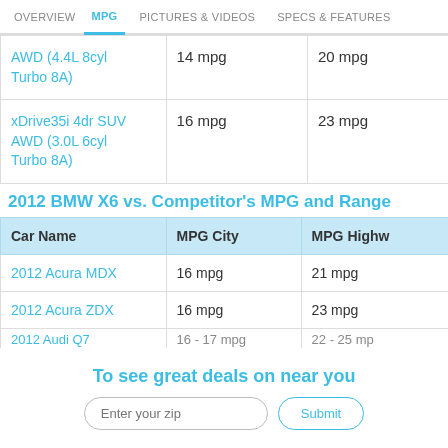OVERVIEW | MPG | PICTURES & VIDEOS | SPECS & FEATURES
|  | MPG City | MPG Highway |
| --- | --- | --- |
| AWD (4.4L 8cyl Turbo 8A) | 14 mpg | 20 mpg |
| xDrive35i 4dr SUV AWD (3.0L 6cyl Turbo 8A) | 16 mpg | 23 mpg |
2012 BMW X6 vs. Competitor's MPG and Range
| Car Name | MPG City | MPG Highway |
| --- | --- | --- |
| 2012 Acura MDX | 16 mpg | 21 mpg |
| 2012 Acura ZDX | 16 mpg | 23 mpg |
| 2012 Audi Q7 | 16-17 mpg | 22-25 mpg |
To see great deals on near you